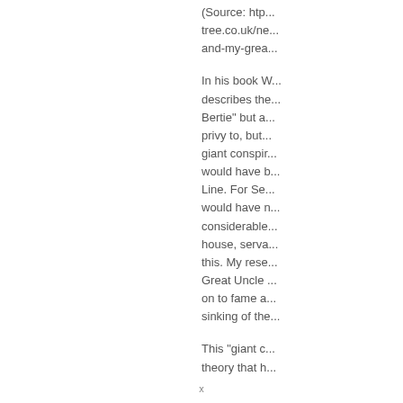(Source: http://tree.co.uk/ne... and-my-grea...
In his book W... describes the... Bertie" but a... privy to, but... giant conspi... would have b... Line. For Se... would have n... considerable... house, serva... this. My rese... Great Uncle... on to fame a... sinking of the...
This "giant c... theory that h...
x